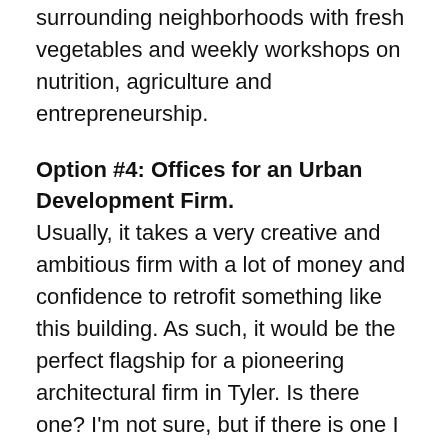surrounding neighborhoods with fresh vegetables and weekly workshops on nutrition, agriculture and entrepreneurship.
Option #4: Offices for an Urban Development Firm.
Usually, it takes a very creative and ambitious firm with a lot of money and confidence to retrofit something like this building. As such, it would be the perfect flagship for a pioneering architectural firm in Tyler. Is there one? I'm not sure, but if there is one I would consider applying for their first entry-level job in this new space. As a flagship, it would highlight the firms ability to critically analyze the historical significance and current condition of a space and produce successful adaptive reuse solutions. There are already people doing this sort or work in Tyler, but I think they need to join forces, gather investors and convert this building. With representatives from real